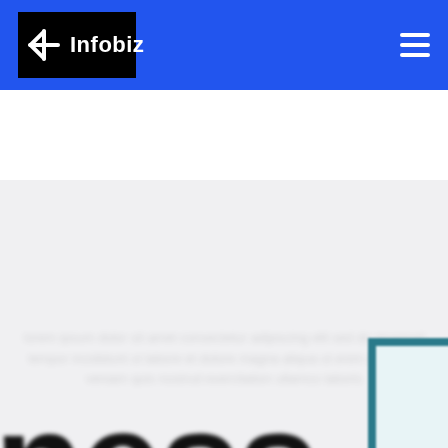Infobiz
[Figure (screenshot): Infobiz website screenshot showing a blue navigation header with the Infobiz logo (black box with white star icon and 'Infobiz' text) on the left and a hamburger menu icon on the right. Below the header is a white/light grey content area with a large blurred 'ness' text at the bottom left (partial word, likely 'Business'), a teal-bordered frame element at the bottom right, and a sage/olive green circular scroll-to-top button with an upward chevron arrow.]